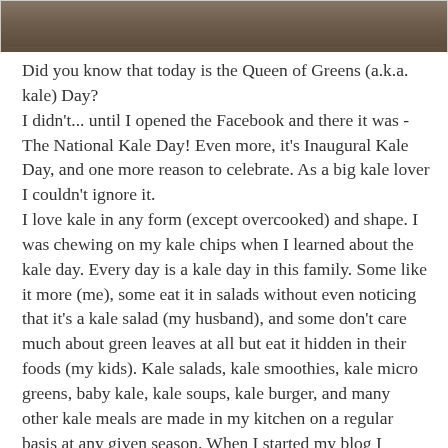[Figure (photo): Top portion of a food photograph, cropped at the top of the page showing a dark textured background, likely kale or food item.]
Did you know that today is the Queen of Greens (a.k.a. kale) Day?
I didn't... until I opened the Facebook and there it was - The National Kale Day! Even more, it's Inaugural Kale Day, and one more reason to celebrate. As a big kale lover I couldn't ignore it.
I love kale in any form (except overcooked) and shape. I was chewing on my kale chips when I learned about the kale day. Every day is a kale day in this family. Some like it more (me), some eat it in salads without even noticing that it's a kale salad (my husband), and some don't care much about green leaves at all but eat it hidden in their foods (my kids). Kale salads, kale smoothies, kale micro greens, baby kale, kale soups, kale burger, and many other kale meals are made in my kitchen on a regular basis at any given season. When I started my blog I dedicated Tuesday to all things kale, and called it Kale Tuesdays. That's how much I love kale! I also have a bitter end...